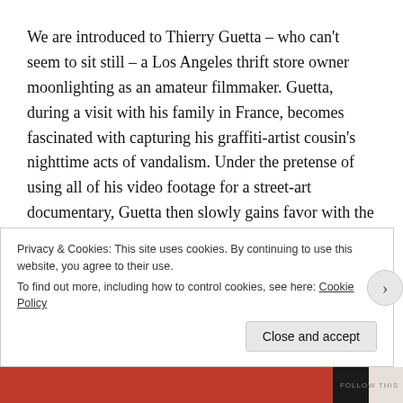We are introduced to Thierry Guetta – who can't seem to sit still – a Los Angeles thrift store owner moonlighting as an amateur filmmaker. Guetta, during a visit with his family in France, becomes fascinated with capturing his graffiti-artist cousin's nighttime acts of vandalism. Under the pretense of using all of his video footage for a street-art documentary, Guetta then slowly gains favor with the most prominent urban artists in the world, including LA's Shepard Fairey and the Britain-based Banksy.
Banksy, whose entire gimmick is about being anonymous, claimed that Guetta was the first person he trusted enough to film...
Privacy & Cookies: This site uses cookies. By continuing to use this website, you agree to their use.
To find out more, including how to control cookies, see here: Cookie Policy